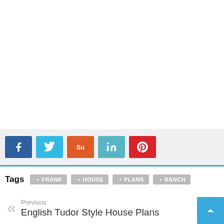[Figure (other): White empty area (advertisement or image placeholder)]
[Figure (infographic): Social share buttons: Facebook (blue), Twitter (cyan), StumbleUpon (orange), LinkedIn (teal), Pinterest (red)]
Tags  FRANK  HOUSE  PLANS  RANCH
Previous
English Tudor Style House Plans
Next
1 Story House Plans With 4 Car Garage